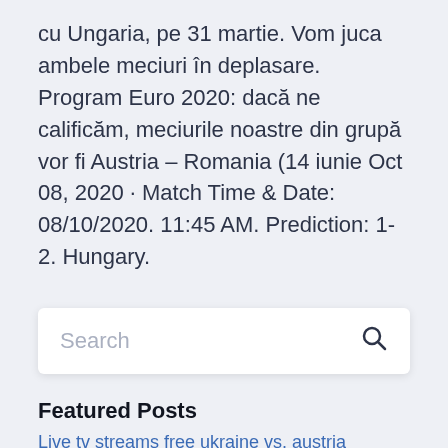cu Ungaria, pe 31 martie. Vom juca ambele meciuri în deplasare. Program Euro 2020: dacă ne calificăm, meciurile noastre din grupă vor fi Austria – Romania (14 iunie Oct 08, 2020 · Match Time & Date: 08/10/2020. 11:45 AM. Prediction: 1-2. Hungary.
[Figure (screenshot): Search box with placeholder text 'Search' and a search icon on the right]
Featured Posts
Live tv streams free ukraine vs. austria